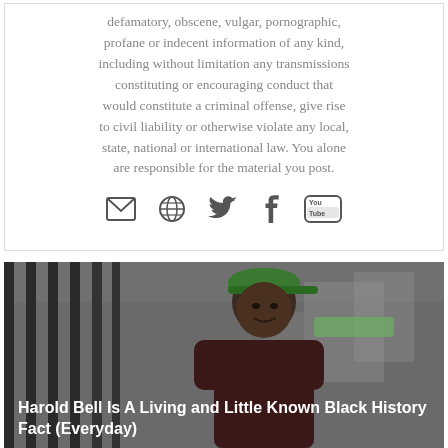defamatory, obscene, vulgar, pornographic, profane or indecent information of any kind, including without limitation any transmissions constituting or encouraging conduct that would constitute a criminal offense, give rise to civil liability or otherwise violate any local, state, national or international law. You alone are responsible for the material you post.
[Figure (other): Row of social media icons: email/envelope, globe/web, Twitter bird, Facebook f, YouTube logo]
[Figure (photo): Photo of a Black man wearing a green cap, looking slightly to the side, standing near vertical bars/railings with an urban background]
Harold Bell Is A Living and Little Known Black History Fact (Everyday)